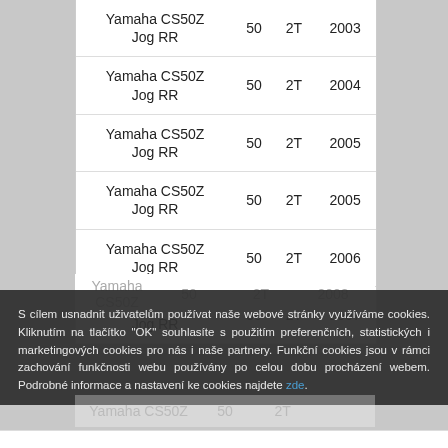| Model | cc | Type | Year |
| --- | --- | --- | --- |
| Yamaha CS50Z Jog RR | 50 | 2T | 2003 |
| Yamaha CS50Z Jog RR | 50 | 2T | 2004 |
| Yamaha CS50Z Jog RR | 50 | 2T | 2005 |
| Yamaha CS50Z Jog RR | 50 | 2T | 2005 |
| Yamaha CS50Z Jog RR | 50 | 2T | 2006 |
| Yamaha CS50Z Jog RR | 50 | 2T | 2007 |
| Yamaha CS50Z ... | 50 | 2T | 2008 |
S cílem usnadnit uživatelům používat naše webové stránky využíváme cookies. Kliknutím na tlačítko "OK" souhlasíte s použitím preferenčních, statistických i marketingových cookies pro nás i naše partnery. Funkční cookies jsou v rámci zachování funkčnosti webu používány po celou dobu procházení webem. Podrobné informace a nastavení ke cookies najdete zde.